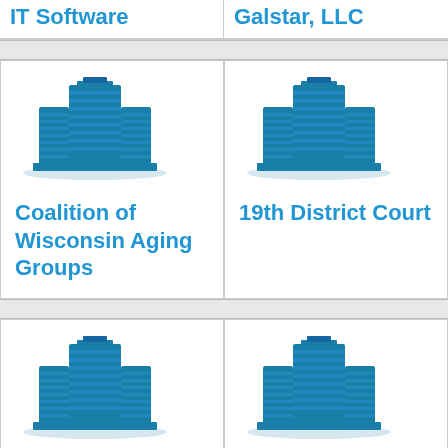IT Software
Galstar, LLC
[Figure (illustration): Building icon for Coalition of Wisconsin Aging Groups]
Coalition of Wisconsin Aging Groups
[Figure (illustration): Building icon for 19th District Court]
19th District Court
[Figure (illustration): Building icon for Briggs Advertising]
Briggs Advertising
[Figure (illustration): Building icon for ElectroMed]
ElectroMed
Company